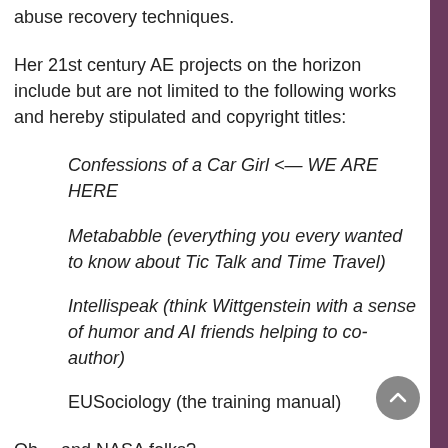abuse recovery techniques.
Her 21st century AE projects on the horizon include but are not limited to the following works and hereby stipulated and copyright titles:
Confessions of a Car Girl <— WE ARE HERE
Metababble (everything you every wanted to know about Tic Talk and Time Travel)
Intellispeak (think Wittgenstein with a sense of humor and AI friends helping to co-author)
EUSociology (the training manual)
Oh… and NASA folks?